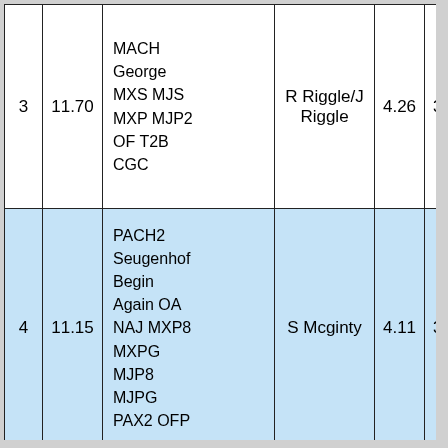| # | Score | Notes | Handler | Val1 | Val2 |
| --- | --- | --- | --- | --- | --- |
| 3 | 11.70 | MACH George MXS MJS MXP MJP2 OF T2B CGC | R Riggle/J Riggle | 4.26 | 3.72 |
| 4 | 11.15 | PACH2 Seugenhof Begin Again OA NAJ MXP8 MXPG MJP8 MJPG PAX2 OFP | S Mcginty | 4.11 | 3.52 |